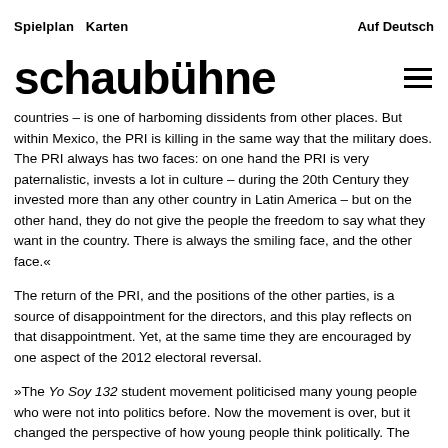Spielplan   Karten                                         Auf Deutsch
schaubühne
countries – is one of harboming dissidents from other places. But within Mexico, the PRI is killing in the same way that the military does. The PRI always has two faces: on one hand the PRI is very paternalistic, invests a lot in culture – during the 20th Century they invested more than any other country in Latin America – but on the other hand, they do not give the people the freedom to say what they want in the country. There is always the smiling face, and the other face.«
The return of the PRI, and the positions of the other parties, is a source of disappointment for the directors, and this play reflects on that disappointment. Yet, at the same time they are encouraged by one aspect of the 2012 electoral reversal.
»The Yo Soy 132 student movement politicised many young people who were not into politics before. Now the movement is over, but it changed the perspective of how young people think politically. The good result of the election … was this movement that maybe can start changing things. Not as a movement, but as a changing of individual